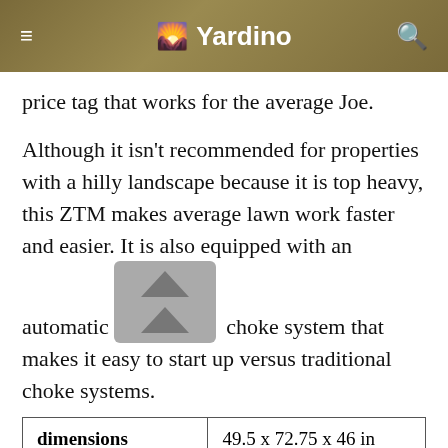Yardino
price tag that works for the average Joe.
Although it isn't recommended for properties with a hilly landscape because it is top heavy, this ZTM makes average lawn work faster and easier. It is also equipped with an automatic choke system that makes it easy to start up versus traditional choke systems.
|  |  |
| --- | --- |
| dimensions | 49.5 x 72.75 x 46 in |
| power | Gas 3.5 gallon tank |